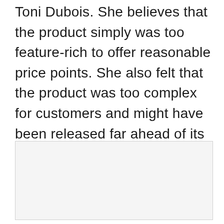Toni Dubois. She believes that the product simply was too feature-rich to offer reasonable price points. She also felt that the product was too complex for customers and might have been released far ahead of its time, much like the Apple Newton.
[Figure (other): Empty light gray rectangular box, likely a placeholder for an image.]